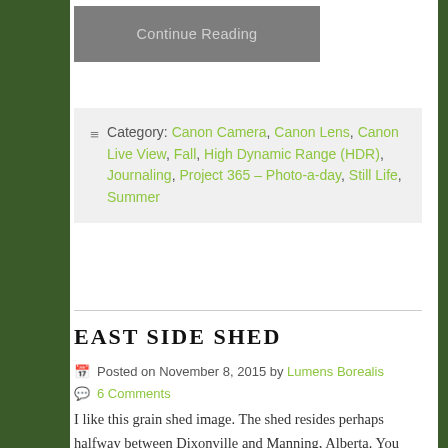Continue Reading
Category: Canon Camera, Canon Lens, Canon Live View, Fall, High Dynamic Range (HDR), Journaling, Project 365 - Photo-a-day, Still Life, Summer
EAST SIDE SHED
Posted on November 8, 2015 by Lumens Borealis
6 Comments
I like this grain shed image. The shed resides perhaps halfway between Dixonville and Manning, Alberta. You can see it from the highway. It's about a kilometre in on the East side of the